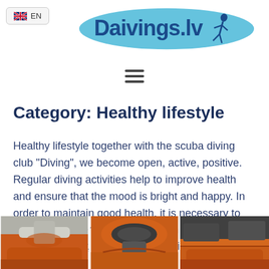EN | Daivings.lv
[Figure (logo): Daivings.lv logo with diver silhouette and blue oval background, with EN language selector button]
[Figure (other): Hamburger menu icon (three horizontal lines)]
Category: Healthy lifestyle
Healthy lifestyle together with the scuba diving club "Diving", we become open, active, positive. Regular diving activities help to improve health and ensure that the mood is bright and happy. In order to maintain good health, it is necessary to pay regular attention to lifestyle - healthy diet, physical activity, emotional well-being.
[Figure (photo): Three photos of orange inflatable diving boats/kayaks shown side by side at the bottom of the page]